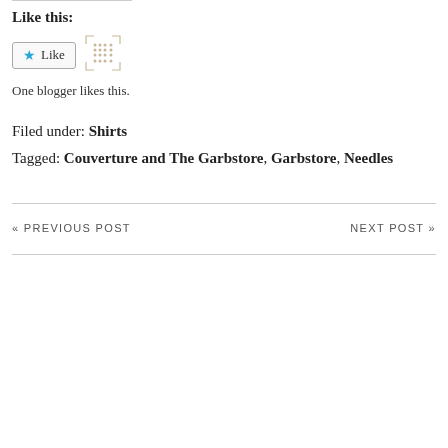Like this:
[Figure (other): WordPress Like button widget with star icon and a decorative spinner/loading icon]
One blogger likes this.
Filed under: Shirts
Tagged: Couverture and The Garbstore, Garbstore, Needles
« PREVIOUS POST
NEXT POST »